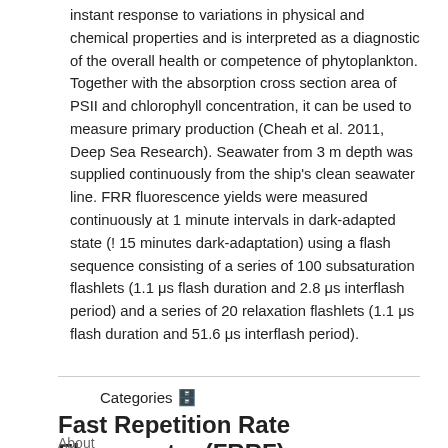instant response to variations in physical and chemical properties and is interpreted as a diagnostic of the overall health or competence of phytoplankton. Together with the absorption cross section area of PSII and chlorophyll concentration, it can be used to measure primary production (Cheah et al. 2011, Deep Sea Research). Seawater from 3 m depth was supplied continuously from the ship's clean seawater line. FRR fluorescence yields were measured continuously at 1 minute intervals in dark-adapted state (! 15 minutes dark-adaptation) using a flash sequence consisting of a series of 100 subsaturation flashlets (1.1 μs flash duration and 2.8 μs interflash period) and a series of 20 relaxation flashlets (1.1 μs flash duration and 51.6 μs interflash period).
Categories
Fast Repetition Rate Fluorometry (FRRF)
About